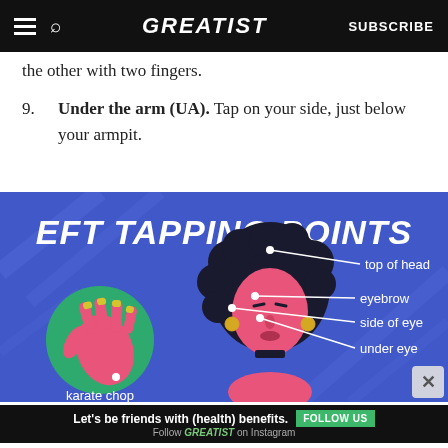GREATIST | SUBSCRIBE
the other with two fingers.
9. Under the arm (UA). Tap on your side, just below your armpit.
[Figure (infographic): EFT Tapping Points infographic on a blue/purple background. Shows an illustrated woman's face with labeled tapping points: top of head, eyebrow, side of eye, under eye. Also shows a hand illustration in a green circle labeled 'karate chop'. A close button (X) is visible in the bottom right corner.]
ADVERTISEMENT | Let's be friends with (health) benefits. Follow GREATIST on Instagram | FOLLOW US